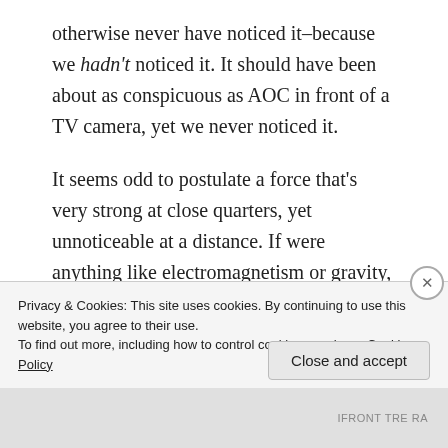otherwise never have noticed it–because we hadn't noticed it. It should have been about as conspicuous as AOC in front of a TV camera, yet we never noticed it.
It seems odd to postulate a force that's very strong at close quarters, yet unnoticeable at a distance. If were anything like electromagnetism or gravity, it should drop off as the square of the distance…twice as far away, you feel 1/4th the force, three times as far away, you feel 1/9th of the force. So if this hypothetical force is an attractive force stronger than the electromagnetic
Privacy & Cookies: This site uses cookies. By continuing to use this website, you agree to their use.
To find out more, including how to control cookies, see here: Cookie Policy
Close and accept